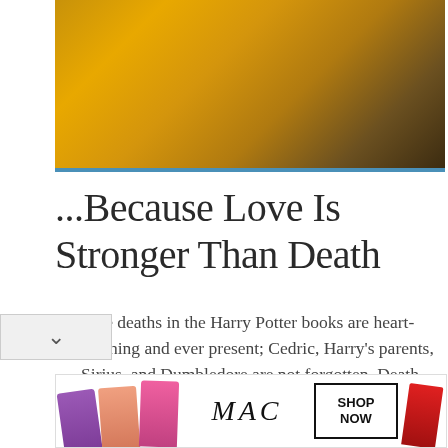[Figure (photo): Close-up photo of golden/amber colored fur or feathers with dark background, warm orange-yellow tones]
...Because Love Is Stronger Than Death
The deaths in the Harry Potter books are heart-wrenching and ever present; Cedric, Harry's parents, Sirius, and Dumbledore are not forgotten. Death changes those left behind: Harry hears his parents in visions and sees them in the Mirror of Erised; Luna and other bereaved students can see thestrals, beasts invisible to their luckier friends:
[Figure (advertisement): MAC cosmetics advertisement showing lipsticks in purple, peach, pink and red colors with MAC logo and SHOP NOW button]